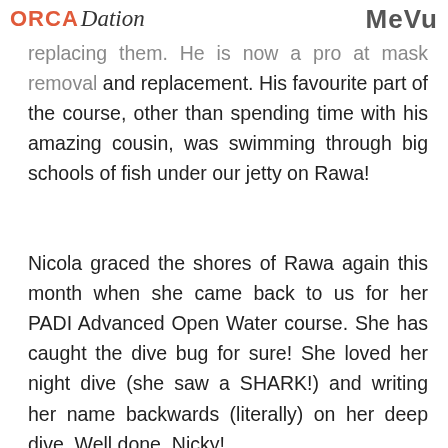ORCA Divation | MeVu
replacing them. He is now a pro at mask removal and replacement. His favourite part of the course, other than spending time with his amazing cousin, was swimming through big schools of fish under our jetty on Rawa!
Nicola graced the shores of Rawa again this month when she came back to us for her PADI Advanced Open Water course. She has caught the dive bug for sure! She loved her night dive (she saw a SHARK!) and writing her name backwards (literally) on her deep dive. Well done, Nicky!